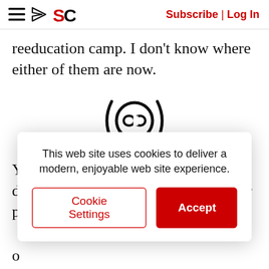Subscribe | Log In
reeducation camp. I don't know where either of them are now.
[Figure (illustration): A chain-link icon inside a circle with parentheses on each side, used as a section divider.]
Yusup and Nurzat were forced to depend on each other, rather than their parents or siblings, for fi... o... in... so... often systematically denied credit and access to
This web site uses cookies to deliver a modern, enjoyable web site experience.
Cookie Settings  Accept